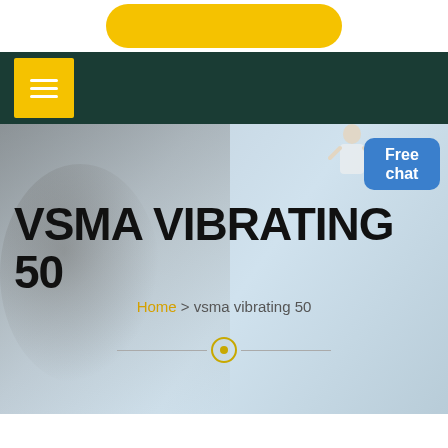[Figure (screenshot): Website screenshot showing navigation bar with yellow hamburger menu button on dark green background, followed by a hero banner with industrial/worker background image, large bold title 'VSMA VIBRATING 50', breadcrumb navigation 'Home > vsma vibrating 50', a blue 'Free chat' badge in the top right, and a small person figure in the upper right corner of the hero.]
VSMA VIBRATING 50
Home > vsma vibrating 50